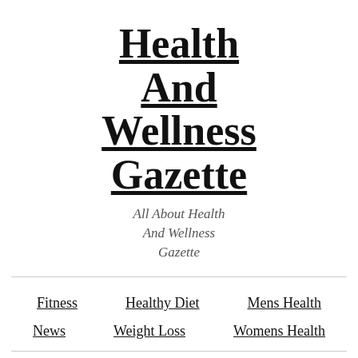Health And Wellness Gazette
All About Health And Wellness Gazette
Fitness
Healthy Diet
Mens Health
News
Weight Loss
Womens Health
We are zealous about plumbing